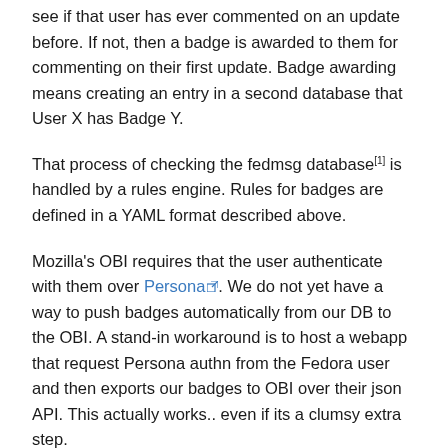see if that user has ever commented on an update before. If not, then a badge is awarded to them for commenting on their first update. Badge awarding means creating an entry in a second database that User X has Badge Y.
That process of checking the fedmsg database[1] is handled by a rules engine. Rules for badges are defined in a YAML format described above.
Mozilla's OBI requires that the user authenticate with them over Persona. We do not yet have a way to push badges automatically from our DB to the OBI. A stand-in workaround is to host a webapp that request Persona authn from the Fedora user and then exports our badges to OBI over their json API. This actually works.. even if its a clumsy extra step.
Epoch Two badge awarding will be driven by user activity on their Fedora machine. When they run yum update for the first time, or open the gnome-tweak-tool for the first time, a daemon on their machine will make submissions to our infrastructure.. awarding them badges. Epoch Two is not yet well thought out.